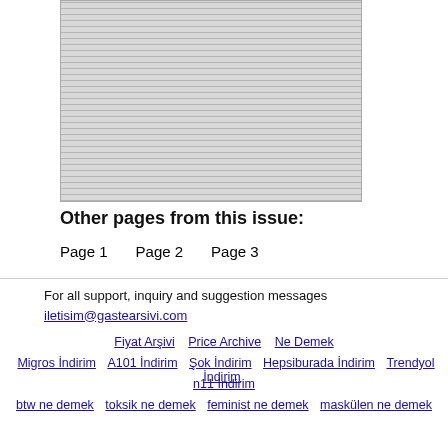[Figure (photo): Scanned newspaper page showing columns of text in Turkish, grayscale]
Other pages from this issue:
Page 1
Page 2
Page 3
For all support, inquiry and suggestion messages iletisim@gastearsivi.com
Fiyat Arşivi  Price Archive  Ne Demek  Migros İndirim  A101 İndirim  Şok İndirim  Hepsiburada İndirim  Trendyol İndirim  n11 İndirim  btw ne demek  toksik ne demek  feminist ne demek  maskülen ne demek